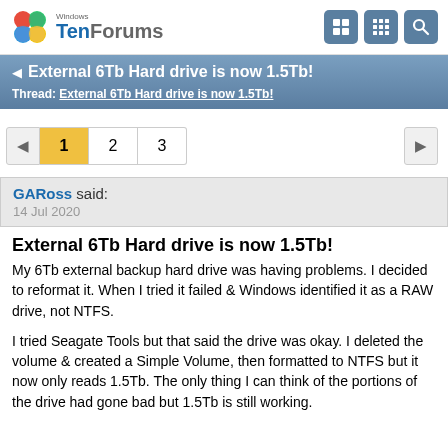Windows TenForums
External 6Tb Hard drive is now 1.5Tb!
Thread: External 6Tb Hard drive is now 1.5Tb!
Page navigation: 1, 2, 3
GARoss said:
14 Jul 2020
External 6Tb Hard drive is now 1.5Tb!
My 6Tb external backup hard drive was having problems. I decided to reformat it. When I tried it failed & Windows identified it as a RAW drive, not NTFS.

I tried Seagate Tools but that said the drive was okay. I deleted the volume & created a Simple Volume, then formatted to NTFS but it now only reads 1.5Tb. The only thing I can think of the portions of the drive had gone bad but 1.5Tb is still working.